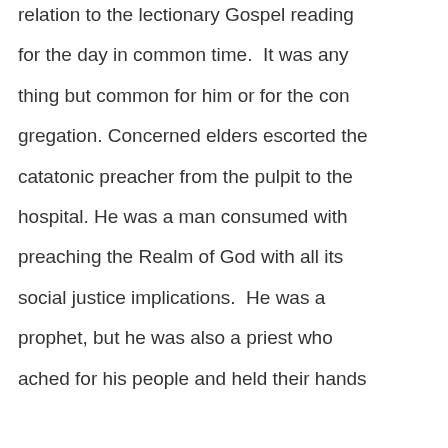relation to the lectionary Gospel reading for the day in common time.  It was anything but common for him or for the congregation. Concerned elders escorted the catatonic preacher from the pulpit to the hospital. He was a man consumed with preaching the Realm of God with all its social justice implications.  He was a prophet, but he was also a priest who ached for his people and held their hands